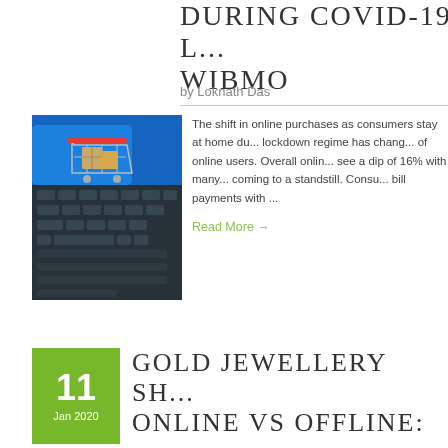DURING COVID-19 LOCKDOWN: WIBMO
by Loknath Das
[Figure (photo): Shopping cart with cardboard boxes on a laptop keyboard, e-commerce concept image]
The shift in online purchases as consumers stay at home during the lockdown regime has changed habits of online users. Overall online ... see a dip of 16% with many ... coming to a standstill. Consu... bill payments with ...
Read More →
GOLD JEWELLERY SH... ONLINE VS OFFLINE:
11
Jan 2020